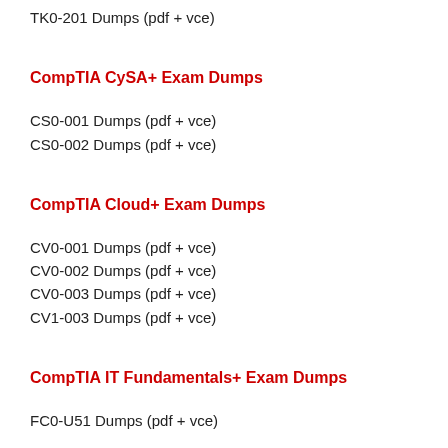TK0-201 Dumps (pdf + vce)
CompTIA CySA+ Exam Dumps
CS0-001 Dumps (pdf + vce)
CS0-002 Dumps (pdf + vce)
CompTIA Cloud+ Exam Dumps
CV0-001 Dumps (pdf + vce)
CV0-002 Dumps (pdf + vce)
CV0-003 Dumps (pdf + vce)
CV1-003 Dumps (pdf + vce)
CompTIA IT Fundamentals+ Exam Dumps
FC0-U51 Dumps (pdf + vce)